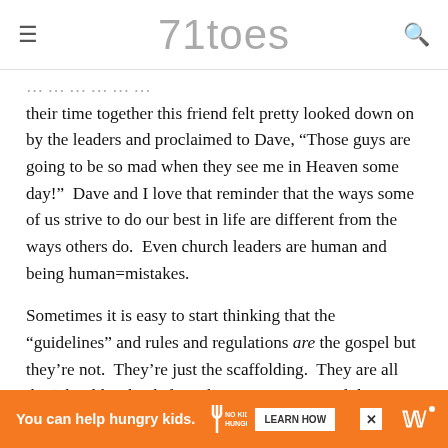71toes
their time together this friend felt pretty looked down on by the leaders and proclaimed to Dave, “Those guys are going to be so mad when they see me in Heaven some day!”  Dave and I love that reminder that the ways some of us strive to do our best in life are different from the ways others do.  Even church leaders are human and being human=mistakes.
Sometimes it is easy to start thinking that the “guidelines” and rules and regulations are the gospel but they’re not.  They’re just the scaffolding.  They are all the “shoulds” that help us keep striving toward that number one goal: accept Christ as our Sa…
[Figure (other): Advertisement banner: orange background with 'You can help hungry kids.' text, No Kid Hungry logo, and LEARN HOW button]